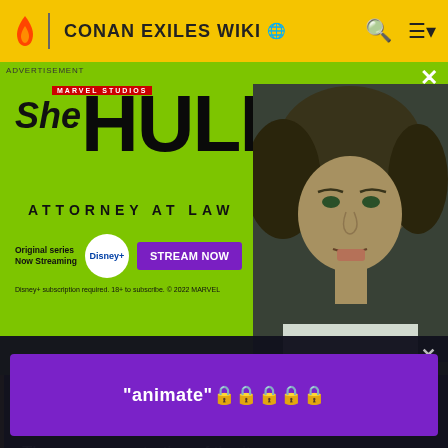CONAN EXILES WIKI
[Figure (illustration): She-Hulk: Attorney at Law advertisement banner with green background, Marvel Studios logo, stylized title text, Disney+ streaming info, Stream Now button, and actress photo on right]
Damage caused by a heavy attack
armor pen
The armor penetration of the item.
dura
The durability of the item.
"animate"🔒🔒🔒🔒🔒